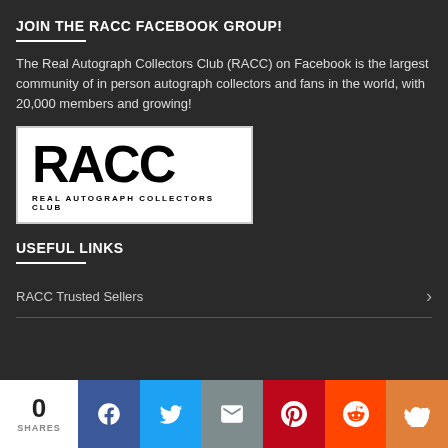JOIN THE RACC FACEBOOK GROUP!
The Real Autograph Collectors Club (RACC) on Facebook is the largest community of in person autograph collectors and fans in the world, with 20,000 members and growing!
[Figure (logo): RACC logo with large bold text 'RACC' and subtitle 'REAL AUTOGRAPH COLLECTORS CLUB' on white background]
USEFUL LINKS
RACC Trusted Sellers
0 SHARES